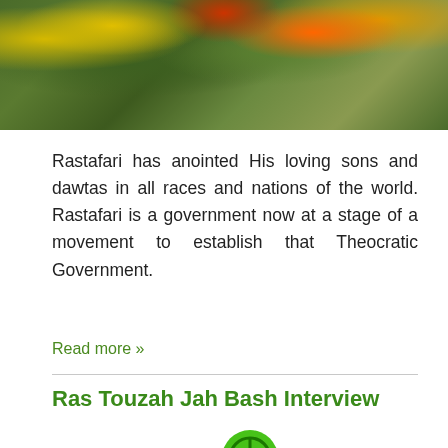[Figure (photo): Aerial or elevated view of colorful flags and banners among green trees, including yellow/red/green colored flags]
Rastafari has anointed His loving sons and dawtas in all races and nations of the world. Rastafari is a government now at a stage of a movement to establish that Theocratic Government.
Read more »
Ras Touzah Jah Bash Interview
[Figure (photo): Rastafari colored flags (red, gold, green) with a green peace/power symbol visible in the center, draped fabric in foreground]